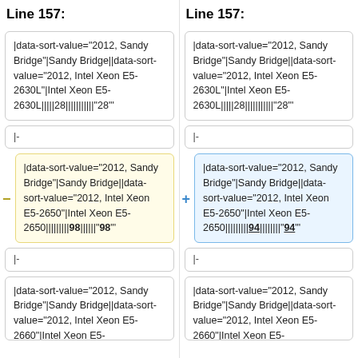Line 157:
Line 157:
|data-sort-value="2012, Sandy Bridge"|Sandy Bridge||data-sort-value="2012, Intel Xeon E5-2630L"|Intel Xeon E5-2630L|||||28|||||||||||"28"
|data-sort-value="2012, Sandy Bridge"|Sandy Bridge||data-sort-value="2012, Intel Xeon E5-2630L"|Intel Xeon E5-2630L|||||28|||||||||||"28"
|-
|-
|data-sort-value="2012, Sandy Bridge"|Sandy Bridge||data-sort-value="2012, Intel Xeon E5-2650"|Intel Xeon E5-2650|||||||||98||||||"98"
|data-sort-value="2012, Sandy Bridge"|Sandy Bridge||data-sort-value="2012, Intel Xeon E5-2650"|Intel Xeon E5-2650|||||||||94||||||||"94"
|-
|-
|data-sort-value="2012, Sandy Bridge"|Sandy Bridge||data-sort-value="2012, Intel Xeon E5-2660"|Intel Xeon E5-
|data-sort-value="2012, Sandy Bridge"|Sandy Bridge||data-sort-value="2012, Intel Xeon E5-2660"|Intel Xeon E5-